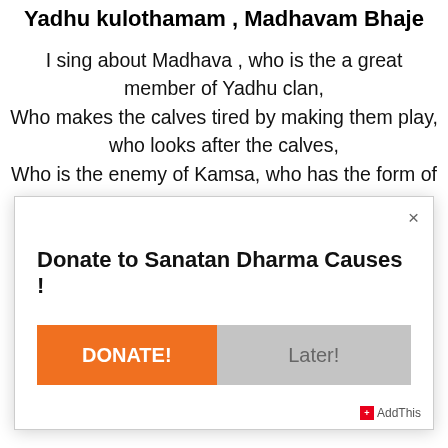Yadhu kulothamam , Madhavam Bhaje
I sing about Madhava , who is the a great member of Yadhu clan,
Who makes the calves tired by making them play, who looks after the calves,
Who is the enemy of Kamsa, who has the form of a swan
Donate to Sanatan Dharma Causes !
DONATE!
Later!
+ AddThis